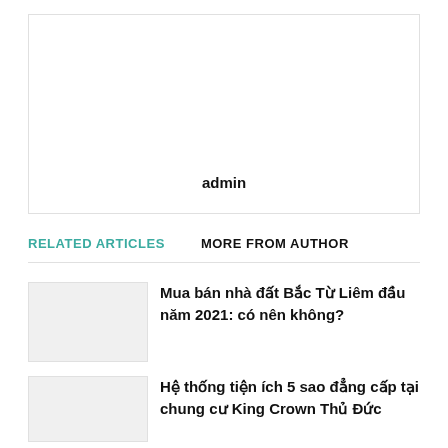[Figure (other): Author box with white background and border, showing author name 'admin' at the bottom center]
admin
RELATED ARTICLES MORE FROM AUTHOR
Mua bán nhà đất Bắc Từ Liêm đầu năm 2021: có nên không?
Hệ thống tiện ích 5 sao đẳng cấp tại chung cư King Crown Thủ Đức